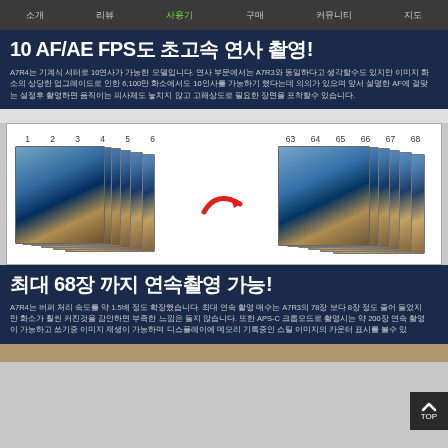소개 리뷰 사용기 구매 커뮤니티 지도
10 AF/AE FPS도 초고속 연사 촬영!
A7R4는 기계식 셔터로 10연사가 가능한 모델입니다. 연사 부문에서는 A7R3와 동일하다고 생각할수도 있지만 이미지 화소의 상당한 업그레이드로 인한 6,100만 화소에서도 10인사를 가능하기 했다는데 의의가 있으며 앞서 설명한 AF에 걸맞는 설정후 촬영하면 움직이는 피사체도 놓치지 않고 고해상도로 필요한 장면을 포착할수 있습니다.
[Figure (photo): Burst shooting sequence showing photos numbered 1-6 on left and 63-68 on right with a red arrow between them, demonstrating continuous shooting capability]
최대 68장 까지 연속촬영 가능!
A7R4는 버퍼 처리 속도를 약 1.5배 정도 확장했습니다. 최대 연속 활영 매수는 A7R3의 78장 보다 8장 정도 줄어 들었지만 화소가 훨씬 커진것을 감안하면 부족한 느낌은 들지 않습니다. 또한 APS-C 크롭모드로 촬영시는 약 200장 연속 촬영이 가능하고 쓰기중 이미지 재생이 가능하며 디스플레이에 메모리 기록중인 스틸 이미지의 카운터 표시를 볼수 있